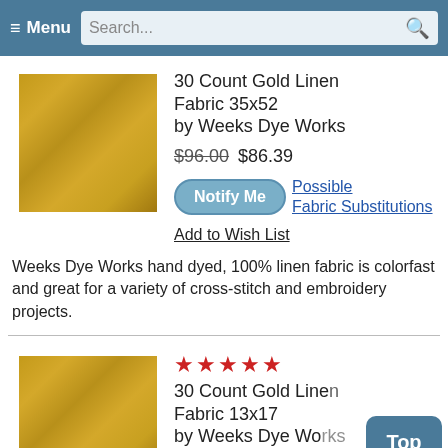≡ Menu  Search...
[Figure (photo): Gold linen fabric swatch, square, golden-yellow woven texture]
30 Count Gold Linen Fabric 35x52 by Weeks Dye Works
$96.00 $86.39
Notify Me  Possible Fabric Substitutions
Add to Wish List
Weeks Dye Works hand dyed, 100% linen fabric is colorfast and great for a variety of cross-stitch and embroidery projects.
[Figure (photo): Gold linen fabric swatch, square, golden-yellow woven texture]
★★★★★
30 Count Gold Linen Fabric 13x17 by Weeks Dye Wo...
$10.00 $11.00 (partially visible)